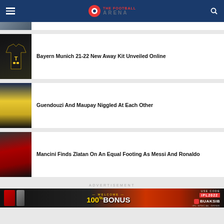THE FOOTBALL [logo]
[Figure (photo): Partial news article image at top, partially cropped]
[Figure (photo): Bayern Munich 21-22 black and gold away kit on dark background]
Bayern Munich 21-22 New Away Kit Unveiled Online
[Figure (photo): Guendouzi in yellow Arsenal kit, curly hair, shouting]
Guendouzi And Maupay Niggled At Each Other
[Figure (photo): Zlatan Ibrahimovic in AC Milan red and black kit]
Mancini Finds Zlatan On An Equal Footing As Messi And Ronaldo
ADVERTISEMENT
[Figure (photo): Advertisement banner: WELCOME 100% BONUS USE CODE IPL2022 BUAKSIB IPL SPECIAL OFFER]